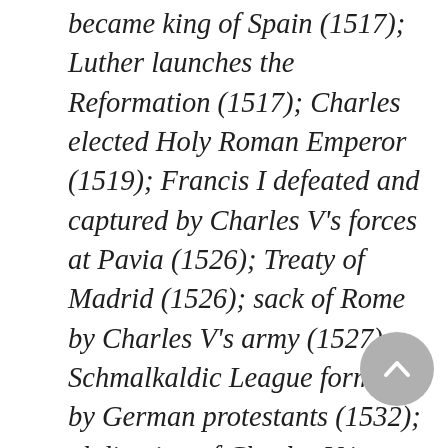became king of Spain (1517); Luther launches the Reformation (1517); Charles elected Holy Roman Emperor (1519); Francis I defeated and captured by Charles V's forces at Pavia (1526); Treaty of Madrid (1526); sack of Rome by Charles V's army (1527); Schmalkaldic League formed by German protestants (1532); abdication of Charles V in favor of Philip II (1556); death of Charles V (1558).